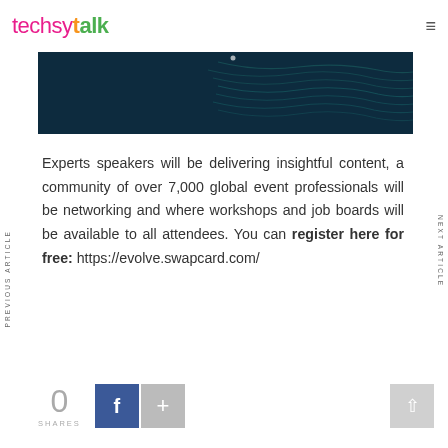techsytalk
[Figure (photo): Dark teal/navy hero image with abstract wave lines pattern]
Experts speakers will be delivering insightful content, a community of over 7,000 global event professionals will be networking and where workshops and job boards will be available to all attendees. You can register here for free: https://evolve.swapcard.com/
0 SHARES